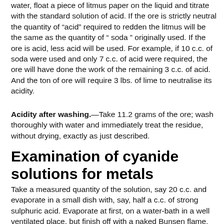water, float a piece of litmus paper on the liquid and titrate with the standard solution of acid. If the ore is strictly neutral the quantity of “acid” required to redden the litmus will be the same as the quantity of “ soda ” originally used. If the ore is acid, less acid will be used. For example, if 10 c.c. of soda were used and only 7 c.c. of acid were required, the ore will have done the work of the remaining 3 c.c. of acid. And the ton of ore will require 3 lbs. of lime to neutralise its acidity.
Acidity after washing.—Take 11.2 grams of the ore; wash thoroughly with water and immediately treat the residue, without drying, exactly as just described.
Examination of cyanide solutions for metals
Take a measured quantity of the solution, say 20 c.c. and evaporate in a small dish with, say, half a c.c. of strong sulphuric acid. Evaporate at first, on a water-bath in a well ventilated place, but finish off with a naked Bunsen flame, using a high temperature at the end in order to completely